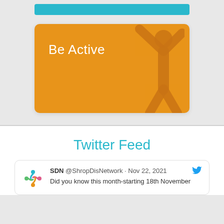[Figure (other): Teal banner rectangle at top]
[Figure (illustration): Orange 'Be Active' card with a person icon raising arms, text reads 'Be Active']
Twitter Feed
SDN @ShropDisNetwork · Nov 22, 2021
Did you know this month-starting 18th November